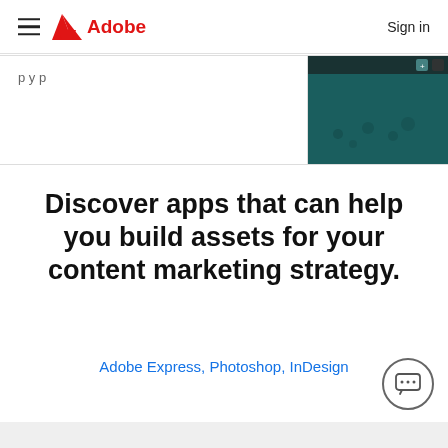Adobe   Sign in
[Figure (screenshot): Partial card with cropped text on left and a dark teal Photoshop/design app screenshot on the right]
Discover apps that can help you build assets for your content marketing strategy.
Adobe Express, Photoshop, InDesign